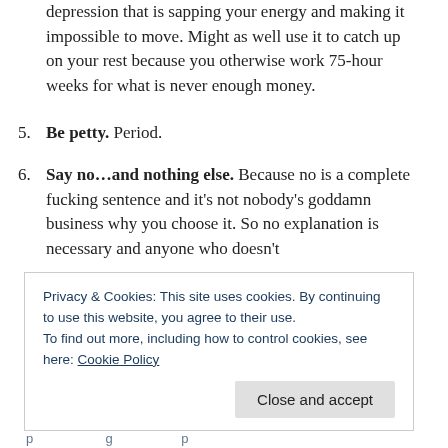depression that is sapping your energy and making it impossible to move. Might as well use it to catch up on your rest because you otherwise work 75-hour weeks for what is never enough money.
5. Be petty. Period.
6. Say no…and nothing else. Because no is a complete fucking sentence and it's not nobody's goddamn business why you choose it. So no explanation is necessary and anyone who doesn't
Privacy & Cookies: This site uses cookies. By continuing to use this website, you agree to their use.
To find out more, including how to control cookies, see here: Cookie Policy